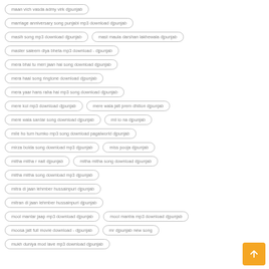maan vich vasda admy virk djpunjab
marriage anniversary song punjabi mp3 download djpunjab
masih song mp3 download djpunjab
mast maula darshan lakhewala djpunjab
master saleem diya bheta mp3 download - djpunjab
mera bhai tu meri jaan hai song download djpunjab
mera haal song ringtone download djpunjab
mera yaar hans raha hai mp3 song download djpunjab
mere kol mp3 download djpunjab
mere wala jatt prem dhillon djpunjab
mere wala sardar song download djpunjab
mil lo na djpunjab
mile ho tum humko mp3 song download pagalworld djpunjab
mirza bolda song download mp3 djpunjab
miss pooja djpunjab
mitha mitha r nait djpunjab
mitha mitha song download djpunjab
mitha mitha song download mp3 djpunjab
mitra di jaan lehmber hussainpuri djpunjab
mitran di jaan lehmber hussainpuri djpunjab
mool mantar jaap mp3 download djpunjab
mool mantra mp3 download djpunjab
moosa jatt full movie download - djpunjab
mr djpunjab new song
mukh duniya mod lave mp3 download djpunjab